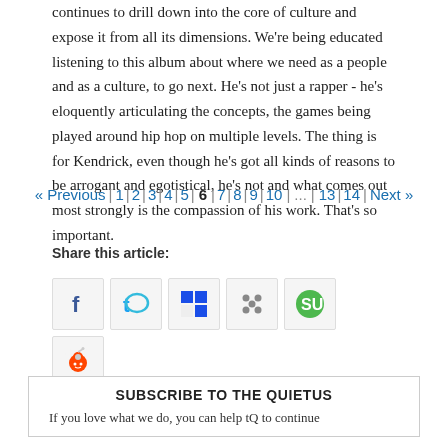continues to drill down into the core of culture and expose it from all its dimensions. We're being educated listening to this album about where we need as a people and as a culture, to go next. He's not just a rapper - he's eloquently articulating the concepts, the games being played around hip hop on multiple levels. The thing is for Kendrick, even though he's got all kinds of reasons to be arrogant and egotistical, he's not and what comes out most strongly is the compassion of his work. That's so important.
« Previous | 1 | 2 | 3 | 4 | 5 | 6 | 7 | 8 | 9 | 10 | ... | 13 | 14 | Next »
Share this article:
[Figure (other): Social sharing icons: Facebook, Twitter, Delicious, Digg, StumbleUpon, Reddit]
SUBSCRIBE TO THE QUIETUS
If you love what we do, you can help tQ to continue